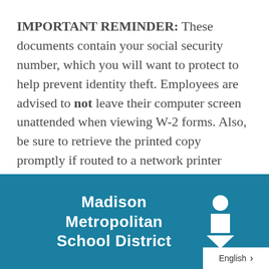IMPORTANT REMINDER: These documents contain your social security number, which you will want to protect to help prevent identity theft. Employees are advised to not leave their computer screen unattended when viewing W-2 forms. Also, be sure to retrieve the printed copy promptly if routed to a network printer shared by others.
[Figure (logo): Madison Metropolitan School District logo with person icon (circle, square, triangle chevron) on teal/blue background, with English language selector button]